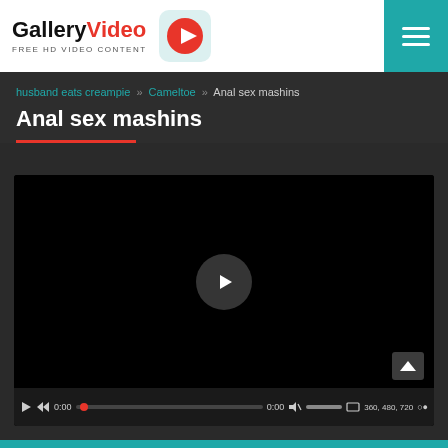GalleryVideo FREE HD VIDEO CONTENT
husband eats creampie » Cameltoe » Anal sex mashins
Anal sex mashins
[Figure (screenshot): Video player showing black screen with large play button in center, and video controls bar at bottom showing play, rewind, time 0:00, progress bar, volume, quality options 360 480 720]